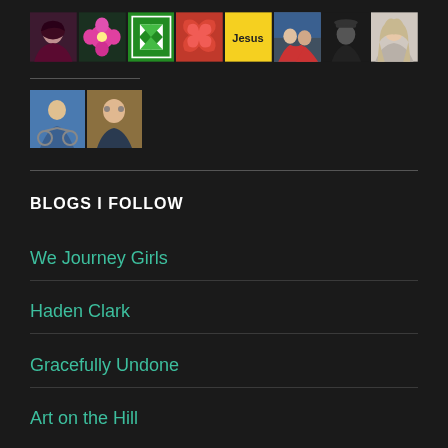[Figure (photo): Row of 8 profile photos/avatars: young woman with dark hair, pink flower, green geometric quilt pattern, red leaf pattern, yellow 'Jesus' text block, couple outdoors, man in hat (dark), young woman with long hair]
[Figure (photo): Two profile photos below: child on blue bike, man in suit with glasses]
BLOGS I FOLLOW
We Journey Girls
Haden Clark
Gracefully Undone
Art on the Hill